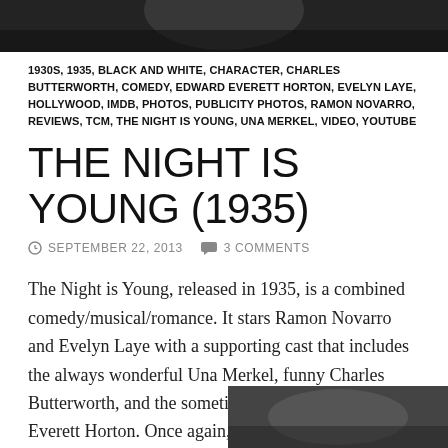[Figure (photo): Black and white photo strip at the top of the page showing partial view of a person]
1930S, 1935, BLACK AND WHITE, CHARACTER, CHARLES BUTTERWORTH, COMEDY, EDWARD EVERETT HORTON, EVELYN LAYE, HOLLYWOOD, IMDB, PHOTOS, PUBLICITY PHOTOS, RAMON NOVARRO, REVIEWS, TCM, THE NIGHT IS YOUNG, UNA MERKEL, VIDEO, YOUTUBE
THE NIGHT IS YOUNG (1935)
SEPTEMBER 22, 2013   3 COMMENTS
The Night is Young, released in 1935, is a combined comedy/musical/romance. It stars Ramon Novarro and Evelyn Laye with a supporting cast that includes the always wonderful Una Merkel, funny Charles Butterworth, and the sometimes bumbling Edward Everett Horton. Once again, Rosalind Russell has a small part in this film.
In this case,
[Figure (photo): Black and white photo at the bottom right showing people, partially visible]